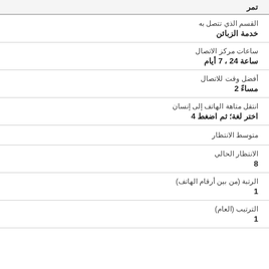تمر
القسم الذي تتصل به
خدمة الزبائن
ساعات مركز الاتصال
ساعة 24 ، 7 أيام
أفضل وقت للاتصال
مساءً 2
انتقل متاهة الهاتف إلى إنسان
اختر لغة؛ ثم اضغط 4
متوسط الانتظار
الانتظار الحالي
8
الرتبة (من بين أرقام الهاتف)
1
الترتيب (العام)
1